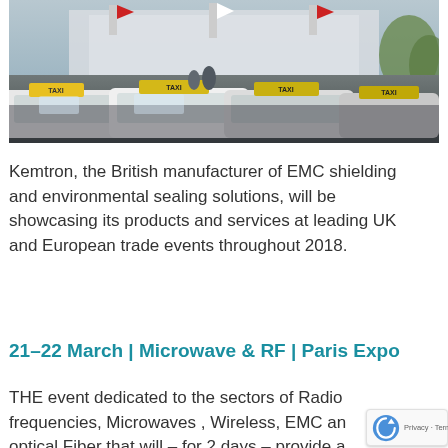[Figure (photo): Photograph of a line of taxis queued outside what appears to be a large exposition or conference centre, with yellow taxi signs visible on roof of vehicles and a building with flags/banners in the background.]
Kemtron, the British manufacturer of EMC shielding and environmental sealing solutions, will be showcasing its products and services at leading UK and European trade events throughout 2018.
21–22 March | Microwave & RF | Paris Expo
THE event dedicated to the sectors of Radio frequencies, Microwaves , Wireless, EMC and optical Fiber that will – for 2 days – provide a